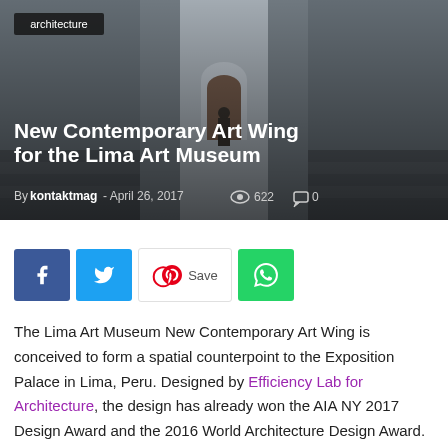[Figure (photo): Hero image of a contemporary art museum exterior with stone/concrete walls, stairs, and a distant arched doorway with a silhouetted figure]
architecture
New Contemporary Art Wing for the Lima Art Museum
By kontaktmag - April 26, 2017  622  0
[Figure (infographic): Social sharing buttons: Facebook, Twitter, Pinterest Save, WhatsApp]
The Lima Art Museum New Contemporary Art Wing is conceived to form a spatial counterpoint to the Exposition Palace in Lima, Peru. Designed by Efficiency Lab for Architecture, the design has already won the AIA NY 2017 Design Award and the 2016 World Architecture Design Award.